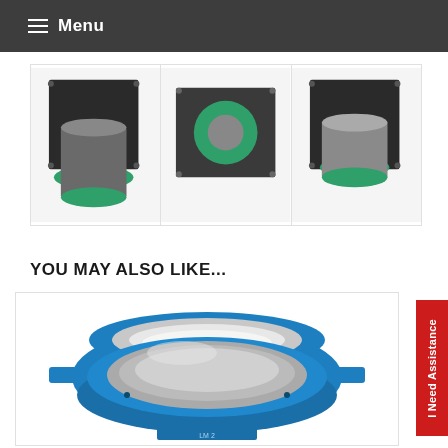Menu
[Figure (photo): Three product photos showing industrial valve/fitting components with green rubber seals on metal flanged plates, displayed in a row]
YOU MAY ALSO LIKE...
[Figure (photo): A blue cast iron pipe fitting/coupling component with a stainless steel inner sleeve, shown from above on white background]